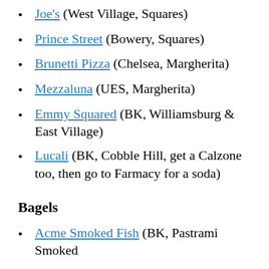Joe's (West Village, Squares)
Prince Street (Bowery, Squares)
Brunetti Pizza (Chelsea, Margherita)
Mezzaluna (UES, Margherita)
Emmy Squared (BK, Williamsburg & East Village)
Lucali (BK, Cobble Hill, get a Calzone too, then go to Farmacy for a soda)
Bagels
Acme Smoked Fish (BK, Pastrami Smoked